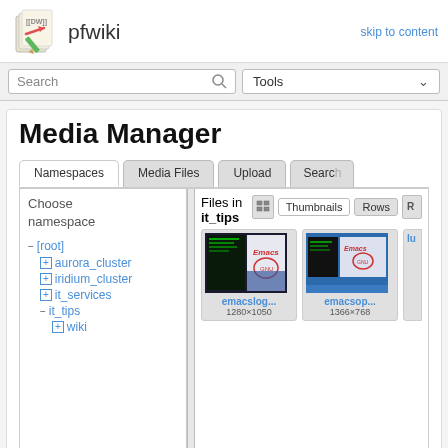pfwiki   skip to content
Search   Tools
Media Manager
Tabs: Namespaces | Media Files | Upload | Search
Choose namespace
− [root]
+ aurora_cluster
+ iridium_cluster
+ it_services
− it_tips
+ wiki
Files in it_tips
View controls: Thumbnails | Rows
[Figure (screenshot): Thumbnail of emacslog file showing a dark terminal with Emacs logo, 1280×1050]
emacslog...
1280×1050
[Figure (screenshot): Thumbnail of emacsop file showing a blue desktop with Emacs logo, 1366×768]
emacsop...
1366×768